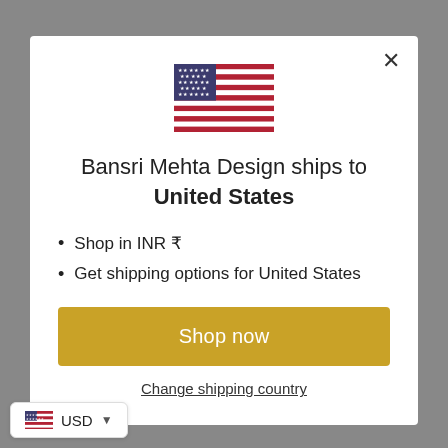[Figure (illustration): US flag icon centered at the top of the modal]
Bansri Mehta Design ships to United States
Shop in INR ₹
Get shipping options for United States
Shop now
Change shipping country
USD